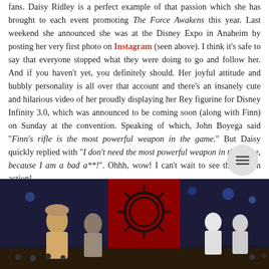about the film, their character, and the often truly obsessive fans. Daisy Ridley is a perfect example of that passion which she has brought to each event promoting The Force Awakens this year. Last weekend she announced she was at the Disney Expo in Anaheim by posting her very first photo on Instagram (seen above). I think it's safe to say that everyone stopped what they were doing to go and follow her. And if you haven't yet, you definitely should. Her joyful attitude and bubbly personality is all over that account and there's an insanely cute and hilarious video of her proudly displaying her Rey figurine for Disney Infinity 3.0, which was announced to be coming soon (along with Finn) on Sunday at the convention. Speaking of which, John Boyega said "Finn's rifle is the most powerful weapon in the game." But Daisy quickly replied with "I don't need the most powerful weapon in the game, because I am a bad a**!". Ohhh, wow! I can't wait to see this girl in action!
[Figure (photo): A Star Wars themed event photo showing costumed characters in front of red First Order banners, with stormtroopers and other figures visible in a convention hall setting. A circular hamburger menu icon overlay is visible in the top right corner of the image.]